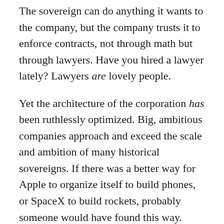The sovereign can do anything it wants to the company, but the company trusts it to enforce contracts, not through math but through lawyers. Have you hired a lawyer lately? Lawyers are lovely people.
Yet the architecture of the corporation has been ruthlessly optimized. Big, ambitious companies approach and exceed the scale and ambition of many historical sovereigns. If there was a better way for Apple to organize itself to build phones, or SpaceX to build rockets, probably someone would have found this way.
Instead the basic design of the Anglo-American limited-liability joint-stock company has remained roughly unchanged since the start of the Industrial Revolution—which, a contrarian historian might argue, might actually have been a Corporate Revolution. If the